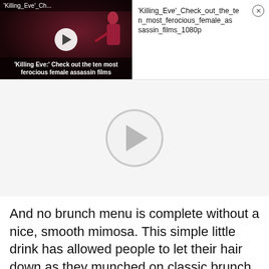[Figure (screenshot): Video thumbnail showing 'Killing Eve: Check out the ten most ferocious female assassin films' with a dark moody background, a silhouetted figure, and a white play button circle.]
'Killing_Eve'_Check_out_the_ten_most_ferocious_female_assassin_films_1080p
[Figure (screenshot): Large video player area with a light gray background and a large semi-transparent circular play button in the center.]
And no brunch menu is complete without a nice, smooth mimosa. This simple little drink has allowed people to let their hair down as they munched on classic brunch favorites like quiches